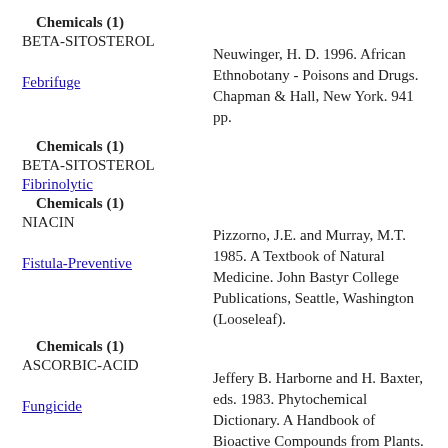Chemicals (1)
BETA-SITOSTEROL
Febrifuge
Neuwinger, H. D. 1996. African Ethnobotany - Poisons and Drugs. Chapman & Hall, New York. 941 pp.
Chemicals (1)
BETA-SITOSTEROL
Fibrinolytic
Chemicals (1)
NIACIN
Fistula-Preventive
Pizzorno, J.E. and Murray, M.T. 1985. A Textbook of Natural Medicine. John Bastyr College Publications, Seattle, Washington (Looseleaf).
Chemicals (1)
ASCORBIC-ACID
Fungicide
Jeffery B. Harborne and H. Baxter, eds. 1983. Phytochemical Dictionary. A Handbook of Bioactive Compounds from Plants. Taylor & Frost, London. 791 pp.